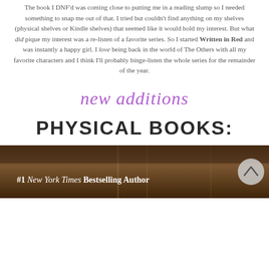The book I DNF'd was coming close to putting me in a reading slump so I needed something to snap me out of that. I tried but couldn't find anything on my shelves (physical shelves or Kindle shelves) that seemed like it would hold my interest. But what did pique my interest was a re-listen of a favorite series. So I started Written in Red and was instantly a happy girl. I love being back in the world of The Others with all my favorite characters and I think I'll probably binge-listen the whole series for the remainder of the year.
new additions
PHYSICAL BOOKS:
[Figure (photo): Book cover photo with dark brown/wood background showing '#1 New York Times Bestselling Author' text in white italic/bold font at the bottom of a book cover image strip]